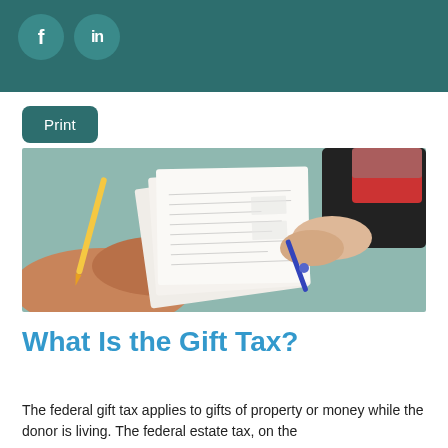Social media icons: f (Facebook), in (LinkedIn)
Print
[Figure (photo): Two people reviewing tax forms or financial documents; one person holds papers while the other points with a pen.]
What Is the Gift Tax?
The federal gift tax applies to gifts of property or money while the donor is living. The federal estate tax, on the